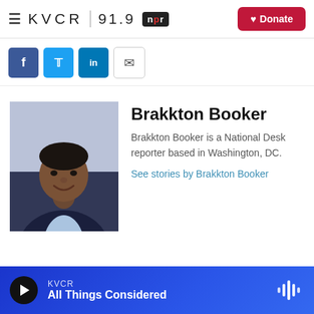KVCR 91.9 NPR — Donate
[Figure (screenshot): Social sharing icons: Facebook, Twitter, LinkedIn, Email]
[Figure (photo): Headshot of Brakkton Booker, a man in a dark suit jacket smiling]
Brakkton Booker
Brakkton Booker is a National Desk reporter based in Washington, DC.
See stories by Brakkton Booker
KVCR — All Things Considered